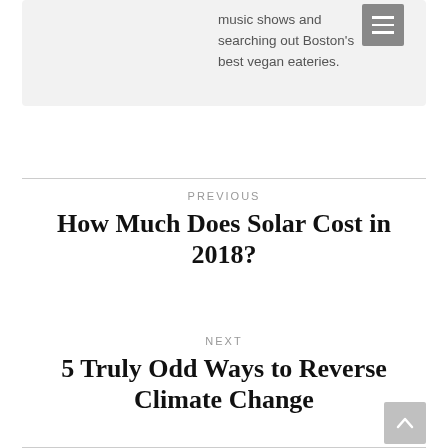music shows and searching out Boston's best vegan eateries.
PREVIOUS
How Much Does Solar Cost in 2018?
NEXT
5 Truly Odd Ways to Reverse Climate Change